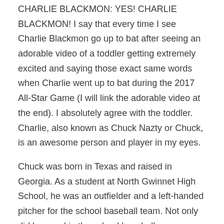CHARLIE BLACKMON: YES! CHARLIE BLACKMON! I say that every time I see Charlie Blackmon go up to bat after seeing an adorable video of a toddler getting extremely excited and saying those exact same words when Charlie went up to bat during the 2017 All-Star Game (I will link the adorable video at the end). I absolutely agree with the toddler. Charlie, also known as Chuck Nazty or Chuck, is an awesome person and player in my eyes.
Chuck was born in Texas and raised in Georgia. As a student at North Gwinnet High School, he was an outfielder and a left-handed pitcher for the school baseball team. Not only did he excel in the school baseball program, but he also participated in football and basketball, and even was a three-time Academic Player of the Year.